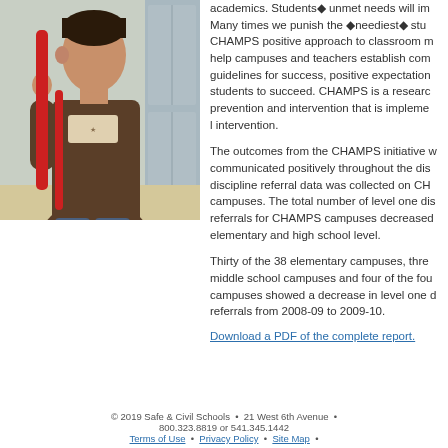[Figure (photo): A teenage boy wearing a brown t-shirt and carrying a red backpack, standing near lockers in a school hallway, seen from the side/back.]
academics. Students' unmet needs will im... Many times we punish the 'neediest' stu... CHAMPS positive approach to classroom m... help campuses and teachers establish com... guidelines for success, positive expectation... students to succeed. CHAMPS is a researc... prevention and intervention that is impleme... l intervention.
The outcomes from the CHAMPS initiative w... communicated positively throughout the dis... discipline referral data was collected on CH... campuses. The total number of level one dis... referrals for CHAMPS campuses decreased... elementary and high school level.
Thirty of the 38 elementary campuses, thre... middle school campuses and four of the fou... campuses showed a decrease in level one d... referrals from 2008-09 to 2009-10.
Download a PDF of the complete report.
© 2019 Safe & Civil Schools • 21 West 6th Avenue • 800.323.8819 or 541.345.1442 Terms of Use • Privacy Policy • Site Map •